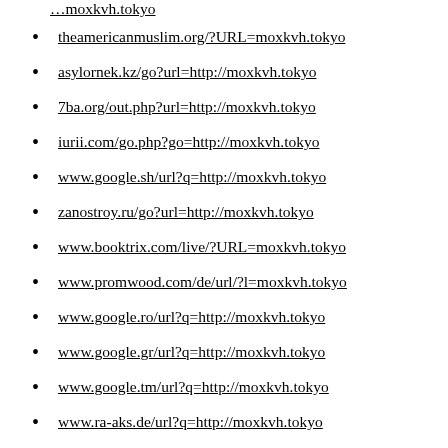theamericanmuslim.org/?URL=moxkvh.tokyo
asylornek.kz/go?url=http://moxkvh.tokyo
7ba.org/out.php?url=http://moxkvh.tokyo
iurii.com/go.php?go=http://moxkvh.tokyo
www.google.sh/url?q=http://moxkvh.tokyo
zanostroy.ru/go?url=http://moxkvh.tokyo
www.booktrix.com/live/?URL=moxkvh.tokyo
www.promwood.com/de/url/?l=moxkvh.tokyo
www.google.ro/url?q=http://moxkvh.tokyo
www.google.gr/url?q=http://moxkvh.tokyo
www.google.tm/url?q=http://moxkvh.tokyo
www.ra-aks.de/url?q=http://moxkvh.tokyo
www.google.no/url?q=http://moxkvh.tokyo
www.google.la/url?q=http://moxkvh.tokyo
www.google.kz/url?q=http://moxkvh.tokyo
www.google.as/url?q=http://moxkvh.tokyo
www.google.gm/url?q=http://moxkvh.tokyo
www.civicvoice.org.uk/?URL=moxkvh.tokyo